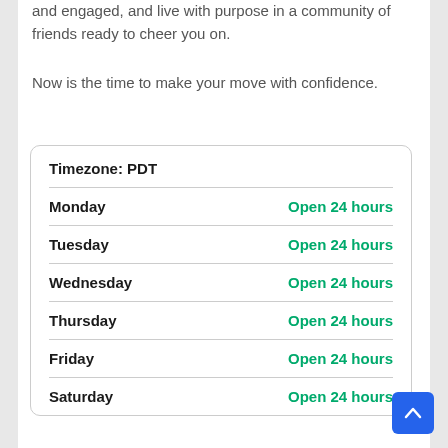and engaged, and live with purpose in a community of friends ready to cheer you on.
Now is the time to make your move with confidence.
| Day | Hours |
| --- | --- |
| Monday | Open 24 hours |
| Tuesday | Open 24 hours |
| Wednesday | Open 24 hours |
| Thursday | Open 24 hours |
| Friday | Open 24 hours |
| Saturday | Open 24 hours |